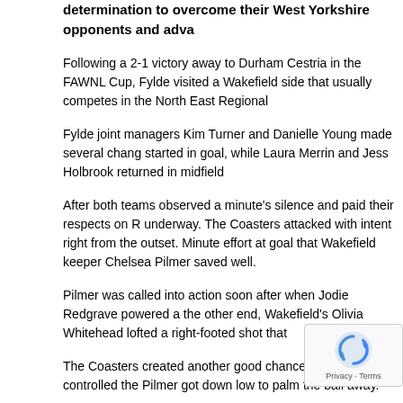determination to overcome their West Yorkshire opponents and adva...
Following a 2-1 victory away to Durham Cestria in the FAWNL Cup, Fylde visited a Wakefield side that usually competes in the North East Regional...
Fylde joint managers Kim Turner and Danielle Young made several changes... started in goal, while Laura Merrin and Jess Holbrook returned in midfield...
After both teams observed a minute's silence and paid their respects on R... underway. The Coasters attacked with intent right from the outset. Minutes... effort at goal that Wakefield keeper Chelsea Pilmer saved well.
Pilmer was called into action soon after when Jodie Redgrave powered a... the other end, Wakefield's Olivia Whitehead lofted a right-footed shot that...
The Coasters created another good chance when Holbrook controlled the... Pilmer got down low to palm the ball away.
Much like their recent goal at home to Brighouse Town, the Coasters ope... swung into the box by Laura Merrin. The Wakefield defence struggled to c... the unfortunate Pilmer to give Fylde the lead.
In the 19th minute, Fylde doubled their advantage when Hugh... Mortimer, who made no mistake with a powerful finish. It was... to the game.